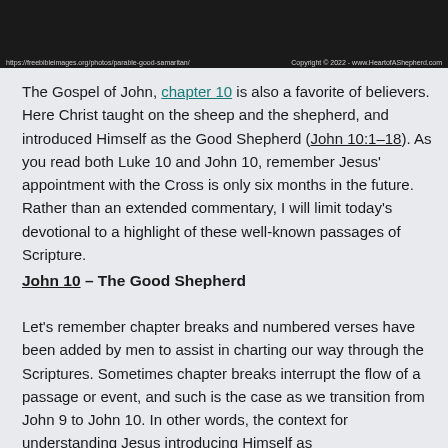[Figure (photo): Photograph of sheep/pastoral scene with dark background, URL caption at bottom left and copyright at bottom right]
The Gospel of John, chapter 10 is also a favorite of believers. Here Christ taught on the sheep and the shepherd, and introduced Himself as the Good Shepherd (John 10:1–18). As you read both Luke 10 and John 10, remember Jesus' appointment with the Cross is only six months in the future. Rather than an extended commentary, I will limit today's devotional to a highlight of these well-known passages of Scripture.
John 10 – The Good Shepherd
Let's remember chapter breaks and numbered verses have been added by men to assist in charting our way through the Scriptures. Sometimes chapter breaks interrupt the flow of a passage or event, and such is the case as we transition from John 9 to John 10. In other words, the context for understanding Jesus introducing Himself as